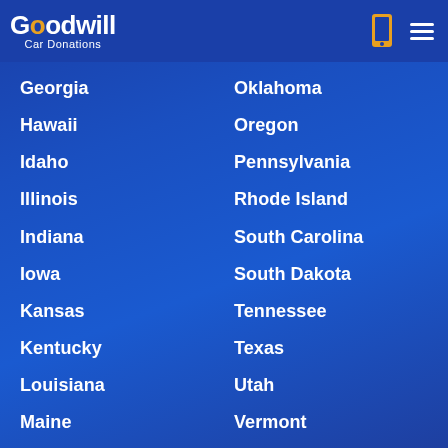Goodwill Car Donations
Georgia
Oklahoma
Hawaii
Oregon
Idaho
Pennsylvania
Illinois
Rhode Island
Indiana
South Carolina
Iowa
South Dakota
Kansas
Tennessee
Kentucky
Texas
Louisiana
Utah
Maine
Vermont
Maryland
Virginia
Massachusetts
Washington
Michigan
West Virginia
Minnesota
Wisconsin
Mississippi
Wyoming